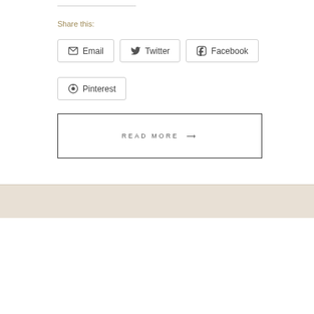Share this:
Email
Twitter
Facebook
Pinterest
READ MORE →
[Figure (other): Decorative banner divider with textured linen-like background]
[Figure (other): White/off-white content area below banner]